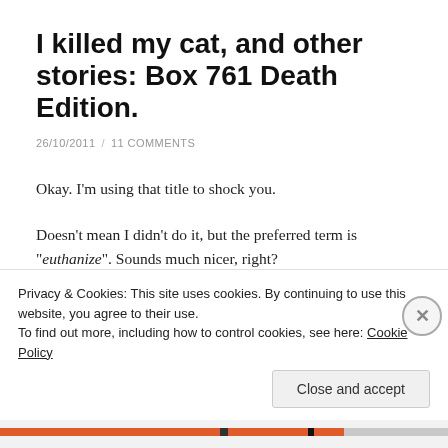I killed my cat, and other stories: Box 761 Death Edition.
26/10/2011  /  11 COMMENTS
Okay. I'm using that title to shock you.
Doesn't mean I didn't do it, but the preferred term is "euthanize". Sounds much nicer, right?
[Figure (photo): Dark/black photo, partially visible, showing a dimly lit subject. Text 'Bo' appears to the right.]
Privacy & Cookies: This site uses cookies. By continuing to use this website, you agree to their use. To find out more, including how to control cookies, see here: Cookie Policy
Close and accept